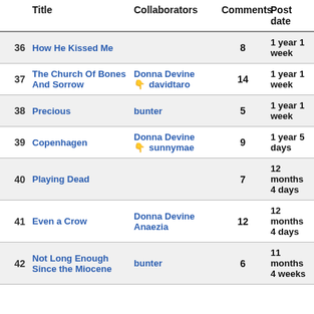|  | Title | Collaborators | Comments | Post date |
| --- | --- | --- | --- | --- |
| 36 | How He Kissed Me |  | 8 | 1 year 1 week |
| 37 | The Church Of Bones And Sorrow | Donna Devine
👇 davidtaro | 14 | 1 year 1 week |
| 38 | Precious | bunter | 5 | 1 year 1 week |
| 39 | Copenhagen | Donna Devine
👇 sunnymae | 9 | 1 year 5 days |
| 40 | Playing Dead |  | 7 | 12 months 4 days |
| 41 | Even a Crow | Donna Devine
Anaezia | 12 | 12 months 4 days |
| 42 | Not Long Enough Since the Miocene | bunter | 6 | 11 months 4 weeks |